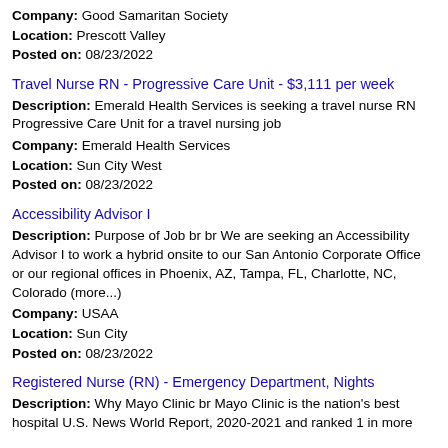Company: Good Samaritan Society
Location: Prescott Valley
Posted on: 08/23/2022
Travel Nurse RN - Progressive Care Unit - $3,111 per week
Description: Emerald Health Services is seeking a travel nurse RN Progressive Care Unit for a travel nursing job
Company: Emerald Health Services
Location: Sun City West
Posted on: 08/23/2022
Accessibility Advisor I
Description: Purpose of Job br br We are seeking an Accessibility Advisor I to work a hybrid onsite to our San Antonio Corporate Office or our regional offices in Phoenix, AZ, Tampa, FL, Charlotte, NC, Colorado (more...)
Company: USAA
Location: Sun City
Posted on: 08/23/2022
Registered Nurse (RN) - Emergency Department, Nights
Description: Why Mayo Clinic br Mayo Clinic is the nation's best hospital U.S. News World Report, 2020-2021 and ranked 1 in more